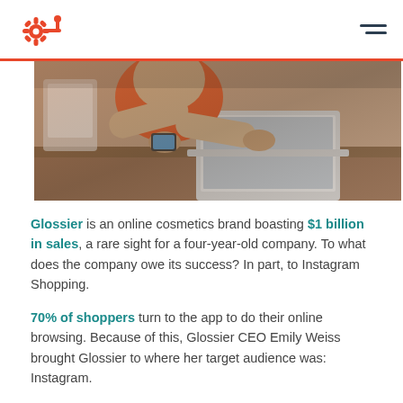HubSpot logo and navigation menu
[Figure (photo): A person holding a smartphone while working on a laptop at a wooden desk]
Glossier is an online cosmetics brand boasting $1 billion in sales, a rare sight for a four-year-old company. To what does the company owe its success? In part, to Instagram Shopping.
70% of shoppers turn to the app to do their online browsing. Because of this, Glossier CEO Emily Weiss brought Glossier to where her target audience was: Instagram.
While shopping on Instagram isn't the newest